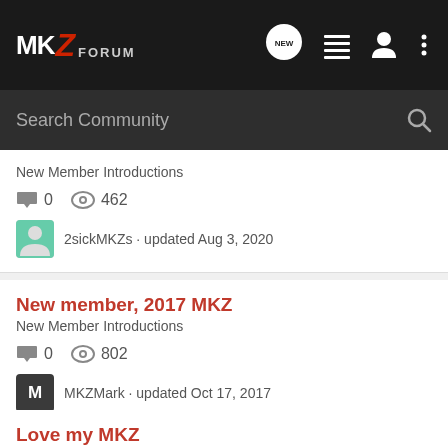MKZ FORUM
Search Community
New Member Introductions
0 replies  462 views
2sickMKZs · updated Aug 3, 2020
New member, 2017 MKZ
New Member Introductions
0 replies  802 views
MKZMark · updated Oct 17, 2017
Love my MKZ
New Member Introductions